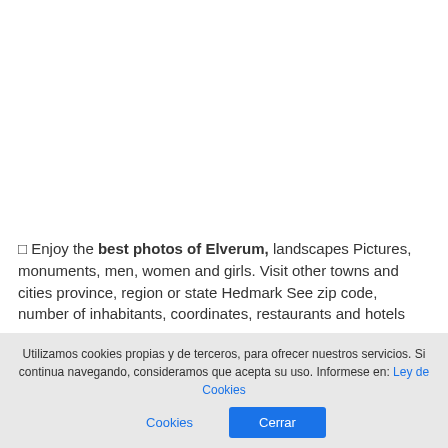🔲 Enjoy the best photos of Elverum, landscapes Pictures, monuments, men, women and girls. Visit other towns and cities province, region or state Hedmark See zip code, number of inhabitants, coordinates, restaurants and hotels
These are photos taken by their neighbors and tourists, In the vicinity of the following coordinates, latitude and longitude
Utilizamos cookies propias y de terceros, para ofrecer nuestros servicios. Si continua navegando, consideramos que acepta su uso. Informese en: Ley de Cookies